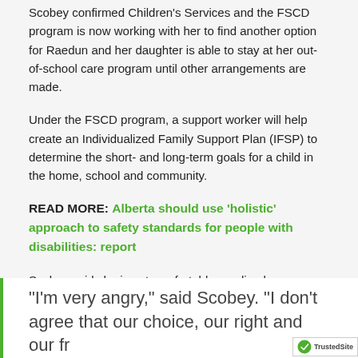Scobey confirmed Children's Services and the FSCD program is now working with her to find another option for Raedun and her daughter is able to stay at her out-of-school care program until other arrangements are made.
Under the FSCD program, a support worker will help create an Individualized Family Support Plan (IFSP) to determine the short- and long-term goals for a child in the home, school and community.
READ MORE: Alberta should use 'holistic' approach to safety standards for people with disabilities: report
Scobey said she is not comfortable sending her daughter to a private day home where there is no government oversight.
The mother has reached out to her MLA and other levels of government to spread her message.
Story continues below advertisement
“I’m very angry,” said Scobey. “I don’t agree that our choice, our right and our fr…